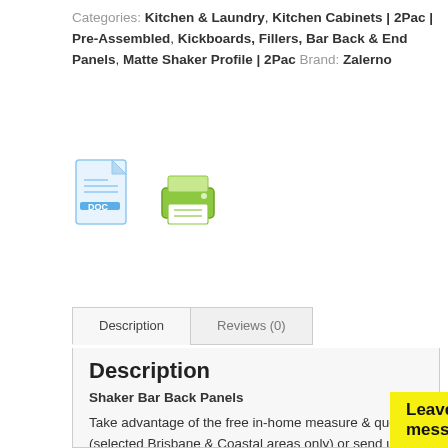Categories: Kitchen & Laundry, Kitchen Cabinets | 2Pac | Pre-Assembled, Kickboards, Fillers, Bar Back & End Panels, Matte Shaker Profile | 2Pac Brand: Zalerno
[Figure (illustration): Two icons: a DOC file icon and a printer icon]
Description | Reviews (0)
Description
Shaker Bar Back Panels
Take advantage of the free in-home measure & quote (selected Brisbane & Coastal areas only) or send us a copy of your plan to quote via email. We also offer a free slab of BDW engineered stone up to the value of $799, backed with our 10 year warranty, for kitchen cabinet orders over $... installed DIY.
Leave a message